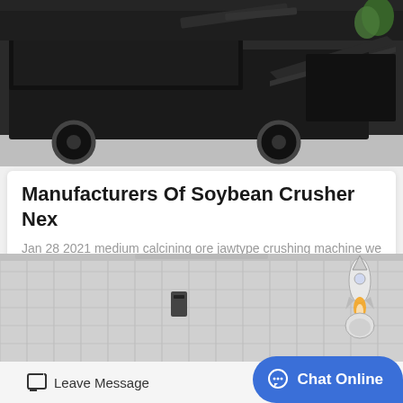[Figure (photo): Dark industrial truck/crusher machine on a concrete surface, black heavy equipment]
Manufacturers Of Soybean Crusher Nex
Jan 28 2021 medium calcining ore jawtype crushing machine we are bulk exporters suppliers wholesale manufacturers and sellers top quality soybean soybean meal soybean oil corn…
learn more
[Figure (photo): Industrial building exterior with corrugated metal panels and a robot/rocket mascot icon]
Leave Message
Chat Online